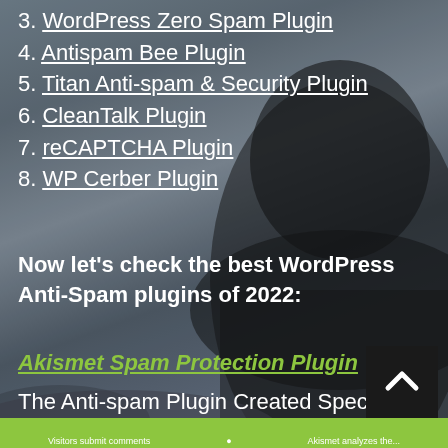3. WordPress Zero Spam Plugin
4. Antispam Bee Plugin
5. Titan Anti-spam & Security Plugin
6. CleanTalk Plugin
7. reCAPTCHA Plugin
8. WP Cerber Plugin
Now let's check the best WordPress Anti-Spam plugins of 2022:
Akismet Spam Protection Plugin
The Anti-spam Plugin Created Specifically for WordPress